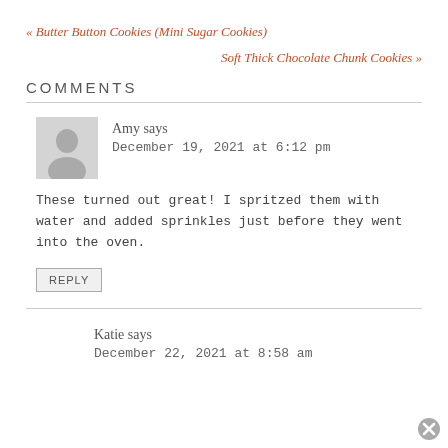« Butter Button Cookies (Mini Sugar Cookies)
Soft Thick Chocolate Chunk Cookies »
COMMENTS
Amy says
December 19, 2021 at 6:12 pm
These turned out great! I spritzed them with water and added sprinkles just before they went into the oven.
REPLY
Katie says
December 22, 2021 at 8:58 am